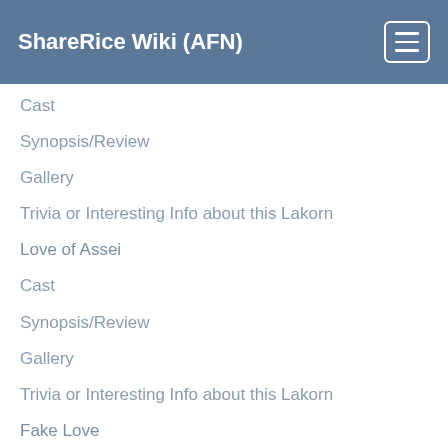ShareRice Wiki (AFN)
Cast
Synopsis/Review
Gallery
Trivia or Interesting Info about this Lakorn
Love of Assei
Cast
Synopsis/Review
Gallery
Trivia or Interesting Info about this Lakorn
Fake Love
Cast
Synopsis/Review
Gallery
Trivia or Interesting Info about this Lakorn
Rak Lud Loy
Cast
Synopsis/Review